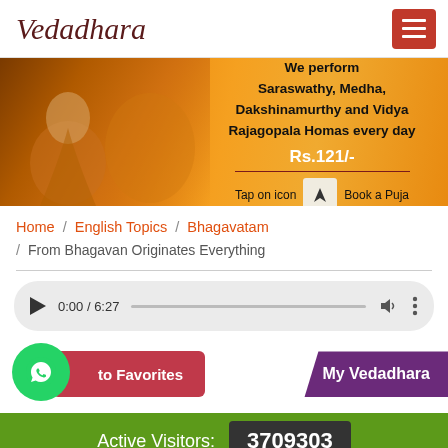Vedadhara
[Figure (illustration): Orange banner with Saraswati and fire deity images. Text: We perform Saraswathy, Medha, Dakshinamurthy and Vidya Rajagopala Homas every day. Rs.121/- Tap on icon [icon] Book a Puja]
Home / English Topics / Bhagavatam / From Bhagavan Originates Everything
[Figure (other): Audio player showing 0:00 / 6:27 with play button, progress bar, volume, and options icons]
to Favorites
My Vedadhara
Active Visitors: 3709303
this content from Bha...